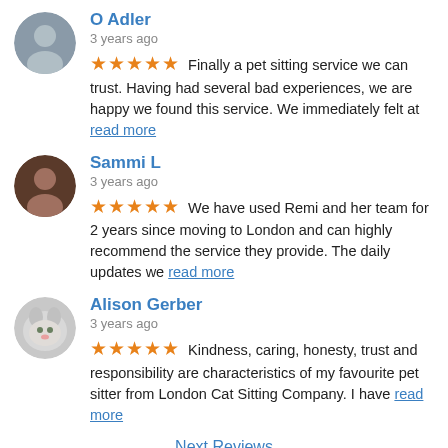O Adler — 3 years ago — ★★★★★ Finally a pet sitting service we can trust. Having had several bad experiences, we are happy we found this service. We immediately felt at read more
Sammi L — 3 years ago — ★★★★★ We have used Remi and her team for 2 years since moving to London and can highly recommend the service they provide. The daily updates we read more
Alison Gerber — 3 years ago — ★★★★★ Kindness, caring, honesty, trust and responsibility are characteristics of my favourite pet sitter from London Cat Sitting Company. I have read more
Next Reviews
Write a review